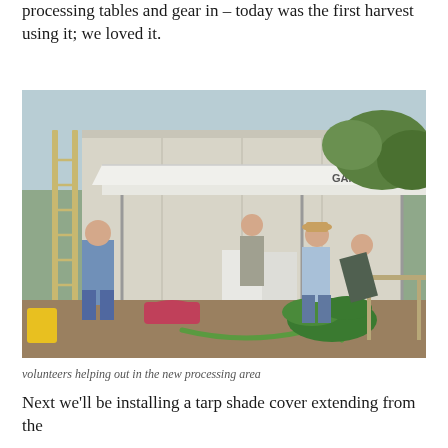processing tables and gear in – today was the first harvest using it; we loved it.
[Figure (photo): Volunteers working in an outdoor produce processing area under a white canopy tent (Gander brand), with a large trailer in the background, processing tables, bins, a green hose on the ground, and leafy vegetables being sorted.]
volunteers helping out in the new processing area
Next we'll be installing a tarp shade cover extending from the